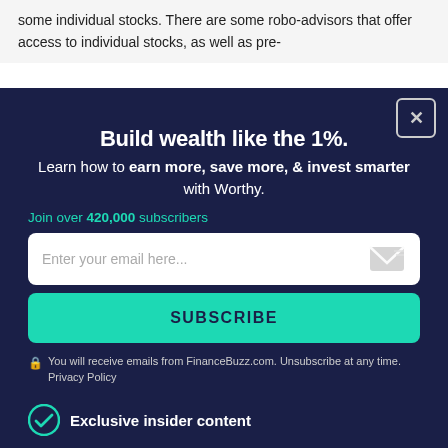some individual stocks. There are some robo-advisors that offer access to individual stocks, as well as pre-
determined portfolios, so you can add individual equities using fractional shares. Think about what want ... advisors ... little.
Build wealth like the 1%.
Learn how to earn more, save more, & invest smarter with Worthy.
Join over 420,000 subscribers
Enter your email here...
SUBSCRIBE
You will receive emails from FinanceBuzz.com. Unsubscribe at any time. Privacy Policy
Exclusive insider content